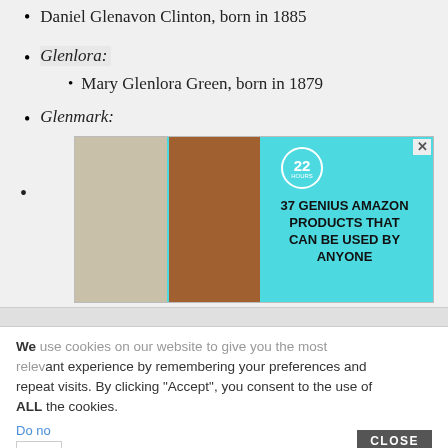Daniel Glenavon Clinton, born in 1885
Glenlora:
Mary Glenlora Green, born in 1879
Glenmark:
[Figure (screenshot): Advertisement banner: '37 GENIUS AMAZON PRODUCTS THAT CAN BE USED BY ANYONE' with 22Hours badge and product images]
864
We use cookies on our website to give you the most relevant experience by remembering your preferences and repeat visits. By clicking “Accept”, you consent to the use of ALL the cookies.
CLOSE
Do no
Coo
[Figure (screenshot): Advertisement banner: '37 ITEMS PEOPLE LOVE TO PURCHASE ON AMAZON' with 22Hours badge and product images]